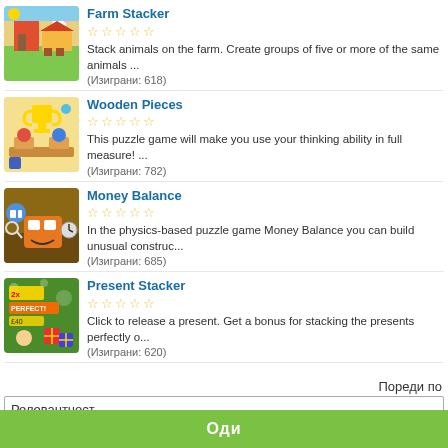Farm Stacker
Stack animals on the farm. Create groups of five or more of the same animals ...
(Изиграни: 618)
Wooden Pieces
This puzzle game will make you use your thinking ability in full measure! ...
(Изиграни: 782)
Money Balance
In the physics-based puzzle game Money Balance you can build unusual construc...
(Изиграни: 685)
Present Stacker
Click to release a present. Get a bonus for stacking the presents perfectly o...
(Изиграни: 620)
Пореди по
Релевантност
Оди